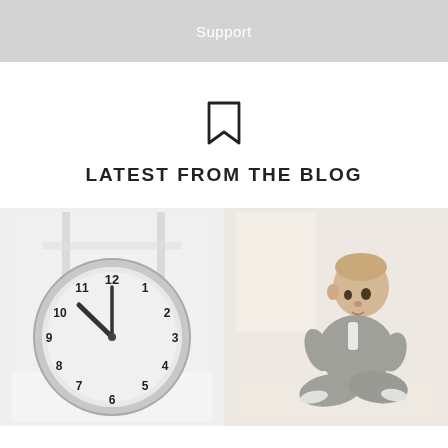Support
[Figure (illustration): Bookmark icon outline]
LATEST FROM THE BLOG
[Figure (photo): Analog wall clock with silver rim showing numbers 1-12, time near 10:10, placed on light floor with table legs in background]
[Figure (photo): Baby/toddler in grey onesie sitting cross-legged on light floor looking to the side, bright airy room background]